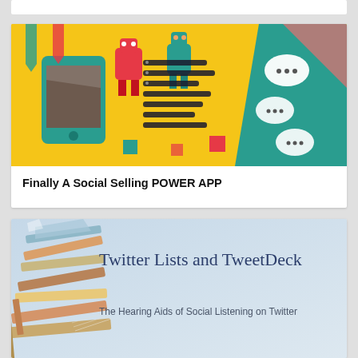[Figure (illustration): Partial white card visible at top of page]
[Figure (illustration): Social selling power app illustration with colorful robots and mobile device on yellow background with chat bubbles]
Finally A Social Selling POWER APP
[Figure (illustration): Twitter Lists and TweetDeck slide with book stack on left and blue gradient background. Title: Twitter Lists and TweetDeck. Subtitle: The Hearing Aids of Social Listening on Twitter]